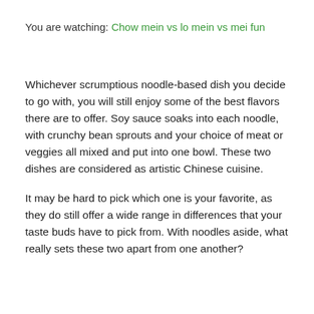You are watching: Chow mein vs lo mein vs mei fun
Whichever scrumptious noodle-based dish you decide to go with, you will still enjoy some of the best flavors there are to offer. Soy sauce soaks into each noodle, with crunchy bean sprouts and your choice of meat or veggies all mixed and put into one bowl. These two dishes are considered as artistic Chinese cuisine.
It may be hard to pick which one is your favorite, as they do still offer a wide range in differences that your taste buds have to pick from. With noodles aside, what really sets these two apart from one another?